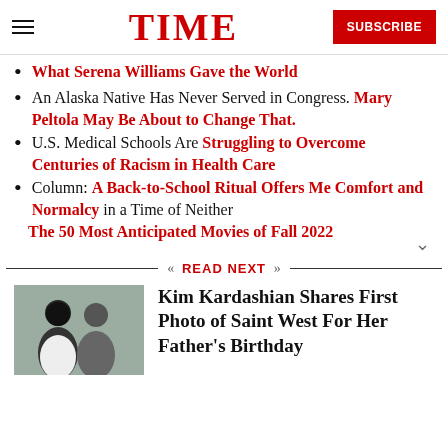TIME — SUBSCRIBE
What Serena Williams Gave the World
An Alaska Native Has Never Served in Congress. Mary Peltola May Be About to Change That.
U.S. Medical Schools Are Struggling to Overcome Centuries of Racism in Health Care
Column: A Back-to-School Ritual Offers Me Comfort and Normalcy in a Time of Neither
The 50 Most Anticipated Movies of Fall 2022
READ NEXT
Kim Kardashian Shares First Photo of Saint West For Her Father's Birthday